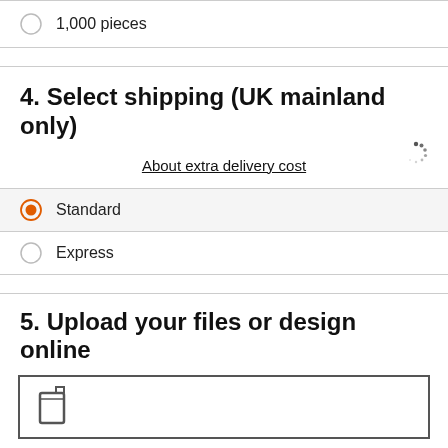1,000 pieces
4. Select shipping (UK mainland only)
About extra delivery cost
Standard
Express
5. Upload your files or design online